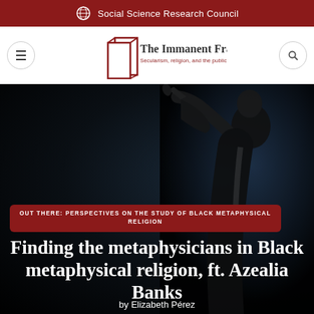Social Science Research Council
[Figure (logo): The Immanent Frame logo with tagline: Secularism, religion, and the public sphere]
OUT THERE: PERSPECTIVES ON THE STUDY OF BLACK METAPHYSICAL RELIGION
Finding the metaphysicians in Black metaphysical religion, ft. Azealia Banks
by Elizabeth Pérez
[Figure (photo): Dark background photo showing a performer with a megaphone/horn, silhouetted figure against dark blue background]